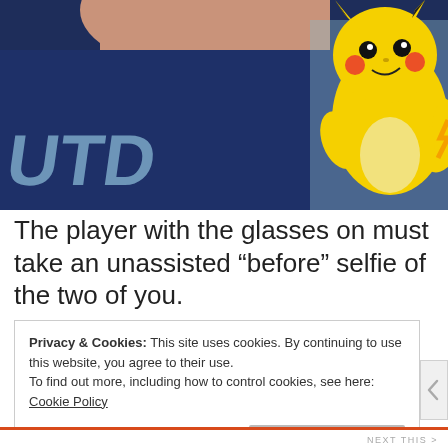[Figure (photo): Close-up photo of a person wearing a navy blue shirt with white text 'UTD', next to a yellow Pikachu plush or character image on the right side]
The player with the glasses on must take an unassisted "before" selfie of the two of you.
Privacy & Cookies: This site uses cookies. By continuing to use this website, you agree to their use. To find out more, including how to control cookies, see here: Cookie Policy